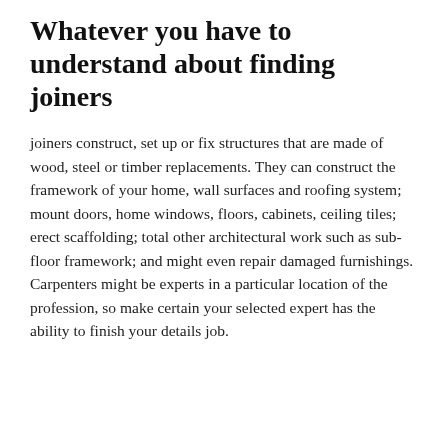Whatever you have to understand about finding joiners
joiners construct, set up or fix structures that are made of wood, steel or timber replacements. They can construct the framework of your home, wall surfaces and roofing system; mount doors, home windows, floors, cabinets, ceiling tiles; erect scaffolding; total other architectural work such as sub-floor framework; and might even repair damaged furnishings. Carpenters might be experts in a particular location of the profession, so make certain your selected expert has the ability to finish your details job.